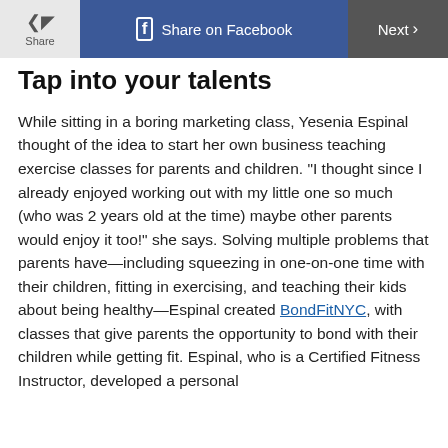Share | Share on Facebook | Next
Tap into your talents
While sitting in a boring marketing class, Yesenia Espinal thought of the idea to start her own business teaching exercise classes for parents and children. "I thought since I already enjoyed working out with my little one so much (who was 2 years old at the time) maybe other parents would enjoy it too!" she says. Solving multiple problems that parents have—including squeezing in one-on-one time with their children, fitting in exercising, and teaching their kids about being healthy—Espinal created BondFitNYC, with classes that give parents the opportunity to bond with their children while getting fit. Espinal, who is a Certified Fitness Instructor, developed a personal